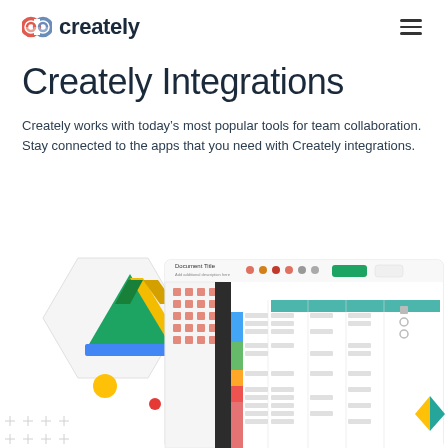creately
Creately Integrations
Creately works with today's most popular tools for team collaboration. Stay connected to the apps that you need with Creately integrations.
[Figure (screenshot): Screenshot showing Creately app interface with a Google Drive icon overlay on the left, and a Kanban/table diagram interface on the right. The interface shows a document with colored columns and rows, navigation elements, and shape panel on the left sidebar.]